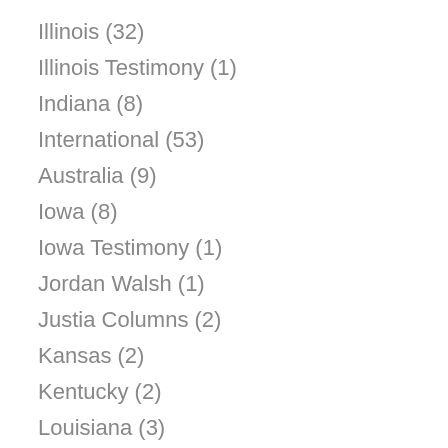Illinois (32)
Illinois Testimony (1)
Indiana (8)
International (53)
Australia (9)
Iowa (8)
Iowa Testimony (1)
Jordan Walsh (1)
Justia Columns (2)
Kansas (2)
Kentucky (2)
Louisiana (3)
Maine (6)
Maryland (6)
Massachusetts (33)
Michigan (4)
Minnesota (56)